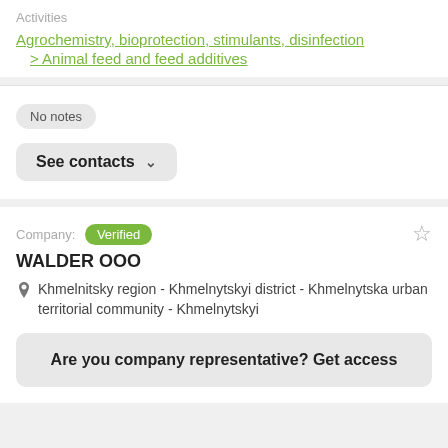Activities
Agrochemistry, bioprotection, stimulants, disinfection
> Animal feed and feed additives
No notes
See contacts
Company: Verified
WALDER OOO
Khmelnitsky region - Khmelnytskyi district - Khmelnytska urban territorial community - Khmelnytskyi
Are you company representative? Get access